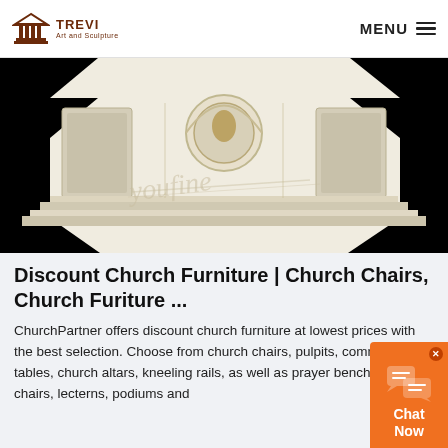TREVI Art and Sculpture | MENU
[Figure (photo): A white marble octagonal church pulpit or baptismal font with decorative relief panels and circular medallion detail, watermarked with 'youfine', photographed against a black background]
Discount Church Furniture | Church Chairs, Church Furiture ...
ChurchPartner offers discount church furniture at lowest prices with the best selection. Choose from church chairs, pulpits, communion tables, church altars, kneeling rails, as well as prayer benches, church chairs, lecterns, podiums and